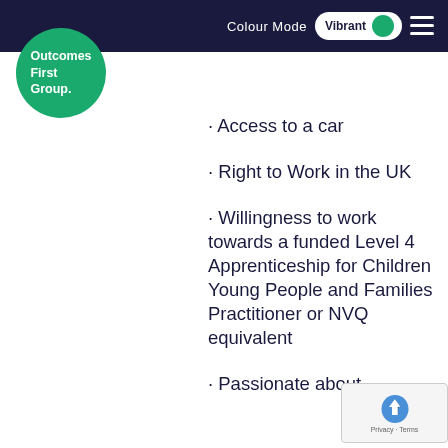Colour Mode Vibrant
[Figure (logo): Outcomes First Group logo — white text on green circle]
Access to a car
Right to Work in the UK
Willingness to work towards a funded Level 4 Apprenticeship for Children Young People and Families Practitioner or NVQ equivalent
Passionate about